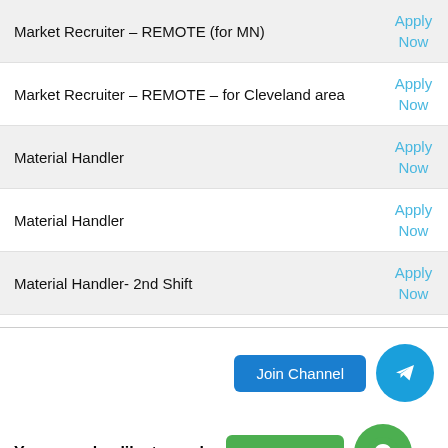| Job Title | Action |
| --- | --- |
| Market Recruiter – REMOTE (for MN) | Apply Now |
| Market Recruiter – REMOTE – for Cleveland area | Apply Now |
| Material Handler | Apply Now |
| Material Handler | Apply Now |
| Material Handler- 2nd Shift | Apply Now |
Join Channel
You may also like to apply,
Join Group